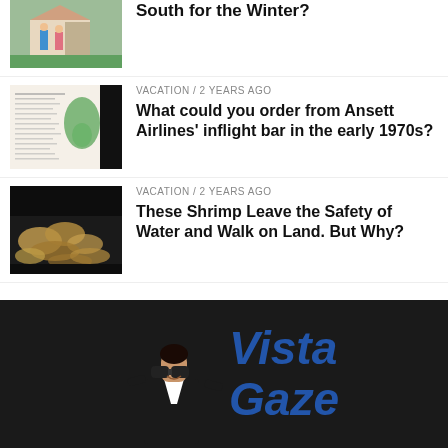[Figure (photo): Two people standing in front of a house with a garage — partially cut off at top]
South for the Winter?
VACATION / 2 years ago
[Figure (photo): Vintage airline menu with green map illustration and text, partially obscured by black bar]
What could you order from Ansett Airlines' inflight bar in the early 1970s?
VACATION / 2 years ago
[Figure (photo): Close-up of shrimp or crustaceans on dark rocky surface]
These Shrimp Leave the Safety of Water and Walk on Land. But Why?
[Figure (logo): Vista Gaze logo — woman holding binoculars on dark background with blue italic bold text reading Vista Gaze]